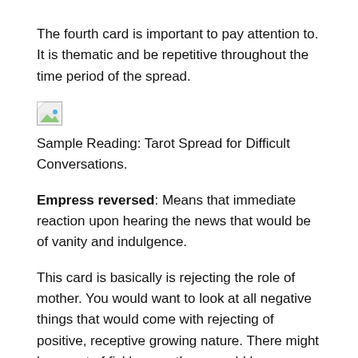The fourth card is important to pay attention to. It is thematic and be repetitive throughout the time period of the spread.
[Figure (other): Broken image placeholder icon (small image with torn corner graphic)]
Sample Reading: Tarot Spread for Difficult Conversations.
Empress reversed: Means that immediate reaction upon hearing the news that would be of vanity and indulgence.
This card is basically is rejecting the role of mother. You would want to look at all negative things that would come with rejecting of positive, receptive growing nature. There might be a sort of fickleness, there would be a withdrawing. The person that is receiving this news, will not be open and will not react well to the news you are sharing with them. They might be frustrated, they are going to be very self-focused on